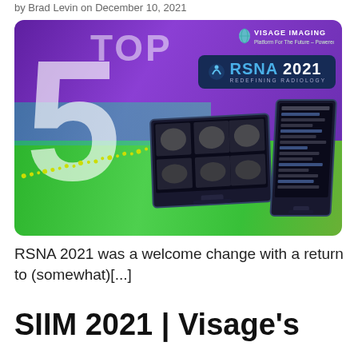by Brad Levin on December 10, 2021
[Figure (illustration): Visage Imaging promotional banner for RSNA 2021 showing 'TOP 5' text with a large number 5, RSNA 2021 Redefining Radiology badge, Visage Imaging logo, and medical imaging workstation monitors displaying brain CT scans on a purple and green gradient background]
RSNA 2021 was a welcome change with a return to (somewhat)[...]
SIIM 2021 | Visage's